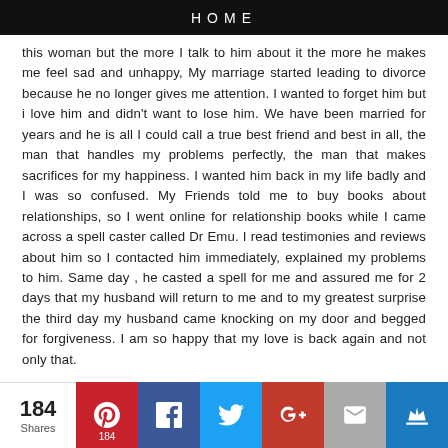HOME
this woman but the more I talk to him about it the more he makes me feel sad and unhappy, My marriage started leading to divorce because he no longer gives me attention. I wanted to forget him but i love him and didn't want to lose him. We have been married for years and he is all I could call a true best friend and best in all, the man that handles my problems perfectly, the man that makes sacrifices for my happiness. I wanted him back in my life badly and I was so confused. My Friends told me to buy books about relationships, so I went online for relationship books while I came across a spell caster called Dr Emu. I read testimonies and reviews about him so I contacted him immediately, explained my problems to him. Same day , he casted a spell for me and assured me for 2 days that my husband will return to me and to my greatest surprise the third day my husband came knocking on my door and begged for forgiveness. I am so happy that my love is back again and not only that.
184 Shares